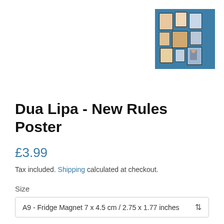[Figure (photo): Thumbnail image showing a wall display of various framed posters arranged in a gallery style on a teal/blue wall]
Dua Lipa - New Rules Poster
£3.99
Tax included. Shipping calculated at checkout.
Size
A9 - Fridge Magnet 7 x 4.5 cm / 2.75 x 1.77 inches